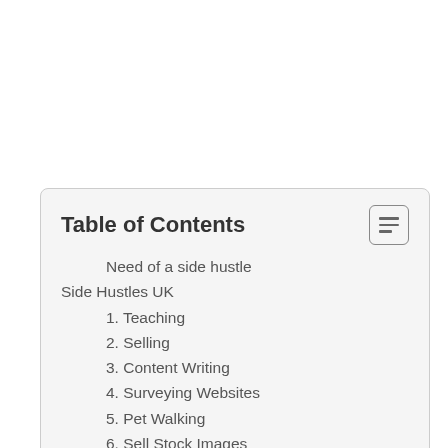Table of Contents
Need of a side hustle
Side Hustles UK
1. Teaching
2. Selling
3. Content Writing
4. Surveying Websites
5. Pet Walking
6. Sell Stock Images
7. Babysitting
8. Manage Social Media
9. Mystery Shopping